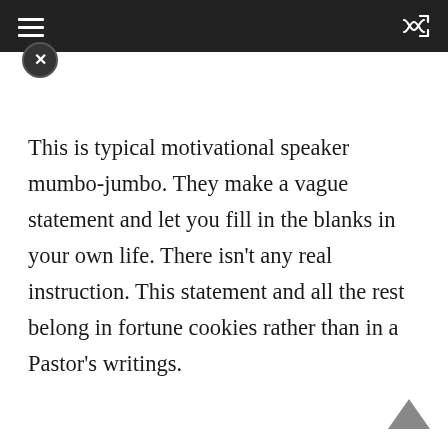This is typical motivational speaker mumbo-jumbo. They make a vague statement and let you fill in the blanks in your own life. There isn’t any real instruction. This statement and all the rest belong in fortune cookies rather than in a Pastor’s writings.